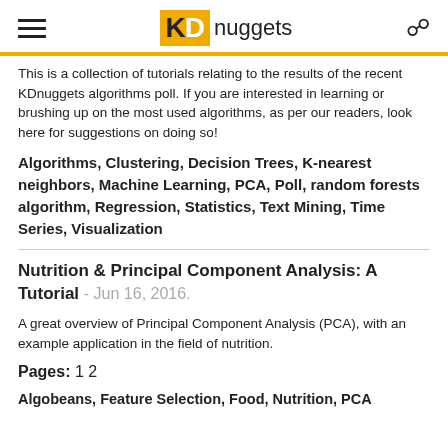KDnuggets
This is a collection of tutorials relating to the results of the recent KDnuggets algorithms poll. If you are interested in learning or brushing up on the most used algorithms, as per our readers, look here for suggestions on doing so!
Algorithms, Clustering, Decision Trees, K-nearest neighbors, Machine Learning, PCA, Poll, random forests algorithm, Regression, Statistics, Text Mining, Time Series, Visualization
Nutrition & Principal Component Analysis: A Tutorial - Jun 16, 2016.
A great overview of Principal Component Analysis (PCA), with an example application in the field of nutrition.
Pages: 1 2
Algobeans, Feature Selection, Food, Nutrition, PCA